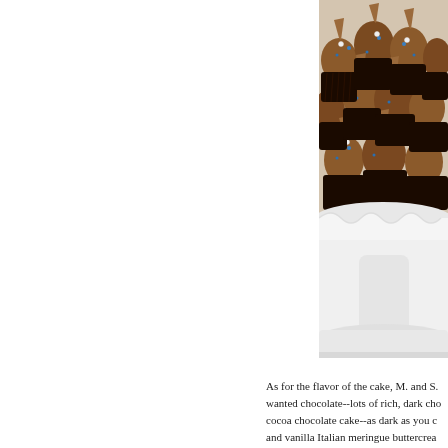[Figure (photo): Mini chocolate cupcakes with swirled chocolate frosting topped with blue sprinkles and white pearl decorations, displayed on a white ruffled ceramic cake stand. A light blue decorative element is partially visible at the top.]
As for the flavor of the cake, M. and S. wanted chocolate--lots of rich, dark cho cocoa chocolate cake--as dark as you c and vanilla Italian meringue buttercrea